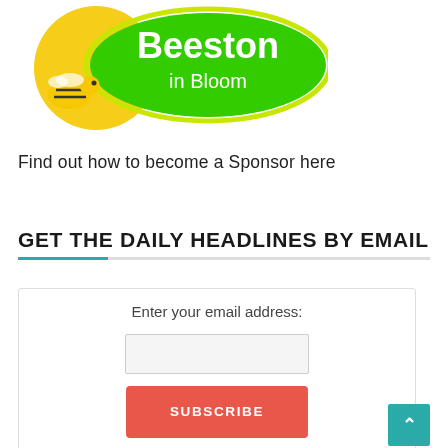[Figure (logo): Beeston in Bloom logo — green oval with white text 'Beeston in Bloom', yellow sunflower and cartoon bee on the left]
Find out how to become a Sponsor here
GET THE DAILY HEADLINES BY EMAIL
Enter your email address:
[email input box]
SUBSCRIBE
Delivered by FeedBurner